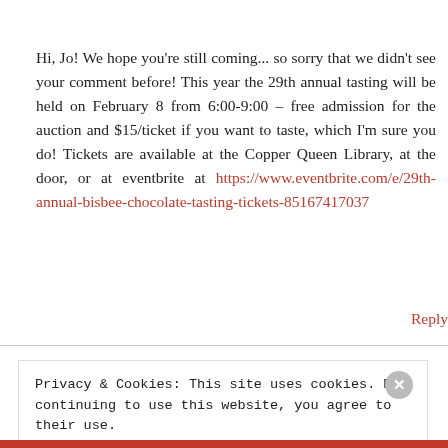Hi, Jo! We hope you're still coming... so sorry that we didn't see your comment before! This year the 29th annual tasting will be held on February 8 from 6:00-9:00 – free admission for the auction and $15/ticket if you want to taste, which I'm sure you do! Tickets are available at the Copper Queen Library, at the door, or at eventbrite at https://www.eventbrite.com/e/29th-annual-bisbee-chocolate-tasting-tickets-85167417037
Reply
Privacy & Cookies: This site uses cookies. By continuing to use this website, you agree to their use.
To find out more, including how to control cookies, see here:
Cookie Policy
Close and accept